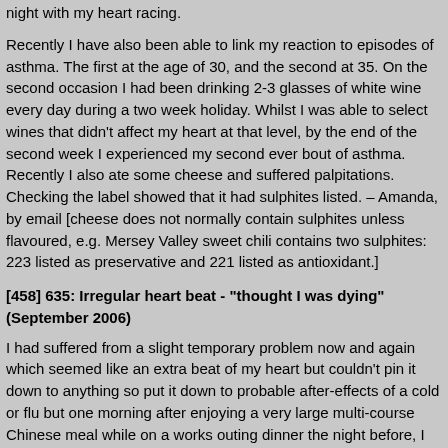night with my heart racing.
Recently I have also been able to link my reaction to episodes of asthma. The first at the age of 30, and the second at 35. On the second occasion I had been drinking 2-3 glasses of white wine every day during a two week holiday. Whilst I was able to select wines that didn't affect my heart at that level, by the end of the second week I experienced my second ever bout of asthma. Recently I also ate some cheese and suffered palpitations. Checking the label showed that it had sulphites listed. – Amanda, by email [cheese does not normally contain sulphites unless flavoured, e.g. Mersey Valley sweet chili contains two sulphites: 223 listed as preservative and 221 listed as antioxidant.]
[458] 635: Irregular heart beat - "thought I was dying" (September 2006)
I had suffered from a slight temporary problem now and again which seemed like an extra beat of my heart but couldn't pin it down to anything so put it down to probable after-effects of a cold or flu but one morning after enjoying a very large multi-course Chinese meal while on a works outing dinner the night before, I felt terrible and quite ill! I could sense an irregular heartbeat that seemed to be every second or third beat, I was going dizzy and feeling faint now and again, had a funny tingling feeling going up my neck into my head and scalp and felt very weak. I honestly thought I was dying. It was so bad I even wrote a quick note to the wife and kids. Obviously I sought